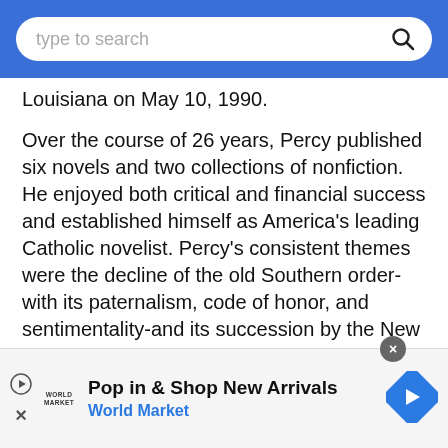type to search
Louisiana on May 10, 1990.
Over the course of 26 years, Percy published six novels and two collections of nonfiction. He enjoyed both critical and financial success and established himself as America's leading Catholic novelist. Percy's consistent themes were the decline of the old Southern order-with its paternalism, code of honor, and sentimentality-and its succession by the New South: a sterile Hollywood-like pursuit of the American Dream. His work influenced the efforts of novelists as diverse as John Hawkes and Richard Ford, and kept alive
[Figure (infographic): Advertisement banner for World Market: 'Pop in & Shop New Arrivals' with World Market logo and navigation arrow icon]